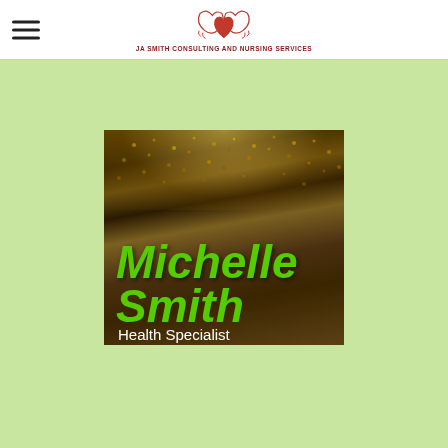JA SMITH CONSULTING AND NURSING SERVICES
[Figure (photo): Promotional image with crowd/arena background showing green bold italic text 'Michelle Smith' and subtitle 'Health Specialist' in white]